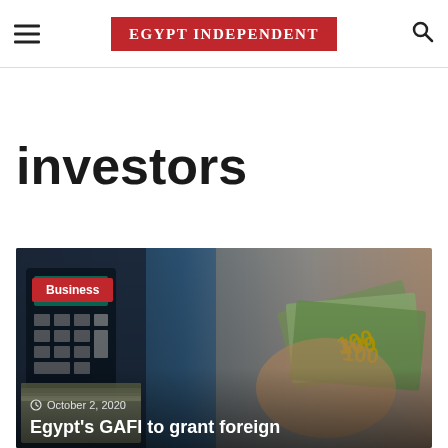EGYPT INDEPENDENT
investors
[Figure (photo): Photo of US dollar bills being counted at what appears to be a currency exchange or bank, with a calculator visible in the background]
Business
October 2, 2020
Egypt's GAFI to grant foreign